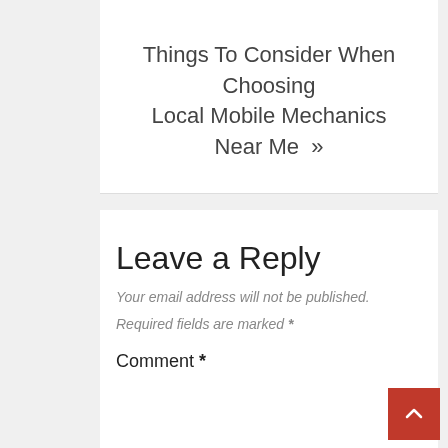Things To Consider When Choosing Local Mobile Mechanics Near Me »
Leave a Reply
Your email address will not be published.
Required fields are marked *
Comment *